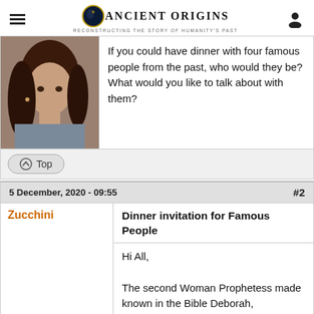Ancient Origins — Reconstructing the story of humanity's past
[Figure (photo): Photo of a woman with dark hair]
If you could have dinner with four famous people from the past, who would they be? What would you like to talk about with them?
Top
5 December, 2020 - 09:55    #2
Zucchini
Dinner invitation for Famous People
Hi All,

The second Woman Prophetess made known in the Bible Deborah,